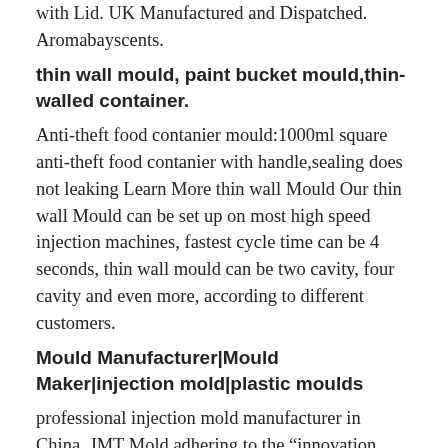with Lid. UK Manufactured and Dispatched. Aromabayscents.
thin wall mould, paint bucket mould,thin-walled container.
Anti-theft food contanier mould:1000ml square anti-theft food contanier with handle,sealing does not leaking Learn More thin wall Mould Our thin wall Mould can be set up on most high speed injection machines, fastest cycle time can be 4 seconds, thin wall mould can be two cavity, four cavity and even more, according to different customers.
Mould Manufacturer|Mould Maker|injection mold|plastic moulds
professional injection mold manufacturer in China. JMT Mold adhering to the “innovation, professional, efficient and win-win” mission, to become the pioneer in injection mold industry as a vision, follow the healthy and sustainable development concept, professional technical